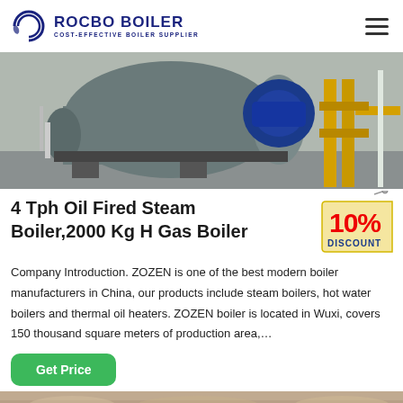ROCBO BOILER — COST-EFFECTIVE BOILER SUPPLIER
[Figure (photo): Industrial steam boiler with blue burner motor and yellow gas pipes in a factory setting]
4 Tph Oil Fired Steam Boiler,2000 Kg H Gas Boiler
[Figure (infographic): 10% DISCOUNT badge/tag graphic]
Company Introduction. ZOZEN is one of the best modern boiler manufacturers in China, our products include steam boilers, hot water boilers and thermal oil heaters. ZOZEN boiler is located in Wuxi, covers 150 thousand square meters of production area,...
Get Price
[Figure (photo): Bottom strip of another product image, light tan/beige industrial equipment]